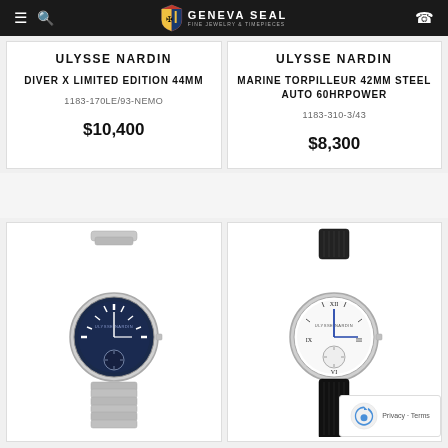Geneva Seal - Fine Jewelry & Timepieces
ULYSSE NARDIN
DIVER X LIMITED EDITION 44MM
1183-170LE/93-NEMO
$10,400
ULYSSE NARDIN
MARINE TORPILLEUR 42MM STEEL AUTO 60HRPOWER
1183-310-3/43
$8,300
[Figure (photo): Ulysse Nardin Marine watch with blue dial and steel bracelet]
[Figure (photo): Ulysse Nardin Marine watch with white dial and black leather strap]